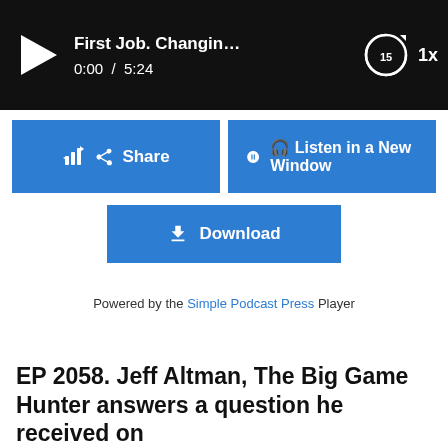[Figure (screenshot): Audio podcast player bar showing play button, time 0:00 / 5:24, title 'First Job. Changin...', replay 15s button, and 1x speed control on black background]
[Figure (screenshot): Blue Share button with share icon]
[Figure (screenshot): Blue Listen in a New Window button with headphones icon]
[Figure (screenshot): Blue Download button with download icon]
Powered by the Simple Podcast Press Player
EP 2058. Jeff Altman, The Big Game Hunter answers a question he received on